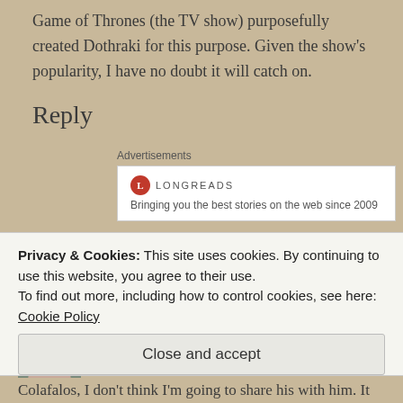Game of Thrones (the TV show) purposefully created Dothraki for this purpose. Given the show's popularity, I have no doubt it will catch on.
Reply
Advertisements
[Figure (logo): Longreads logo with red circle and text: Bringing you the best stories on the web since 2009]
LAMEADVENTURES
MAY 30, 2013 AT 6:11 AM
Privacy & Cookies: This site uses cookies. By continuing to use this website, you agree to their use.
To find out more, including how to control cookies, see here: Cookie Policy
Close and accept
Colafalos, I don't think I'm going to share his with him. It